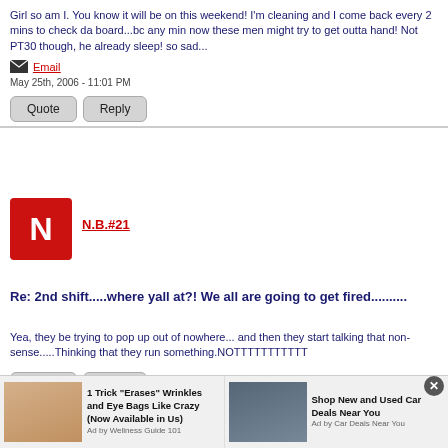Girl so am I. You know it will be on this weekend! I'm cleaning and I come back every 2 mins to check da board...bc any min now these men might try to get outta hand! Not PT30 though, he already sleep! so sad...
Email
May 25th, 2006 - 11:01 PM
Quote  Reply
[Figure (other): Red square avatar with white letter N for user N.B.#21]
N.B.#21
Re: 2nd shift.....where yall at?! We all are going to get fired..........
Yea, they be trying to pop up out of nowhere... and then they start talking that non-sense.....Thinking that they run something.NOTTTTTTTTTTT
Quote  Reply
[Figure (other): Advertisement bar with two ads: '1 Trick Erases Wrinkles and Eye Bags Like Crazy (Now Available in Us)' by Wellness Guide 101, and 'Shop New and Used Car Deals Near You' by Car Deals Near You]